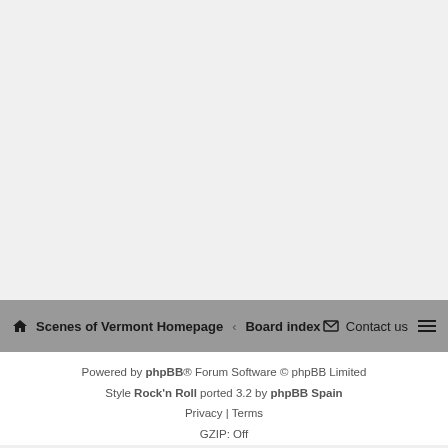Scenes of Vermont Homepage · Board index | Contact us
Powered by phpBB® Forum Software © phpBB Limited
Style Rock'n Roll ported 3.2 by phpBB Spain
Privacy | Terms
GZIP: Off